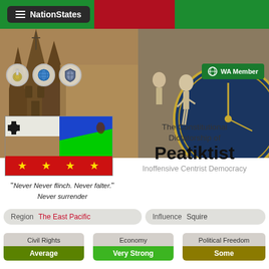NationStates
[Figure (screenshot): NationStates banner showing gothic church and astronomical clock background with flag overlay]
WA Member
"Never Never flinch. Never falter." Never surrender
The Constitutional Dictatorship of Peatiktist
Inoffensive Centrist Democracy
Region: The East Pacific
Influence: Squire
Civil Rights: Average
Economy: Very Strong
Political Freedom: Some